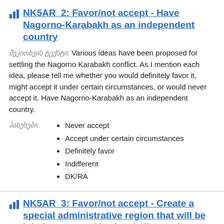NK5AR_2: Favor/not accept - Have Nagorno-Karabakh as an independent country
შეკითხვის ტექსტი: Various ideas have been proposed for settling the Nagorno Karabakh conflict. As I mention each idea, please tell me whether you would definitely favor it, might accept it under certain circumstances, or would never accept it. Have Nagorno-Karabakh as an independent country.
Never accept
Accept under certain circumstances
Definitely favor
Indifferent
DK/RA
NK5AR_3: Favor/not accept - Create a special administrative region that will be jointly governed by Azerbaijan and Armenia
შეკითხვის ტექსტი: Various ideas have been proposed for settling the Nagorno Karabakh conflict. As I mention each idea, please tell me whether you would definitely favor it, might accept it under